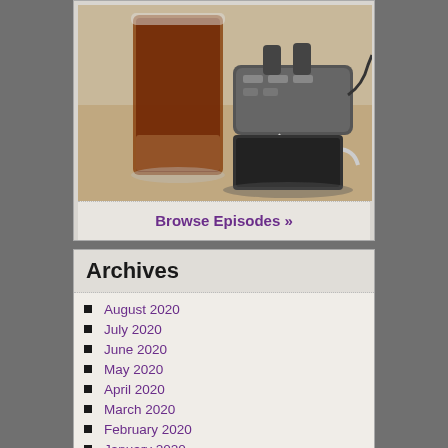[Figure (photo): A glass of dark drink (appears to be cola or coffee) on a table next to a portable audio recorder device with cables]
Browse Episodes »
Archives
August 2020
July 2020
June 2020
May 2020
April 2020
March 2020
February 2020
January 2020
December 2019
November 2019
October 2019
September 2019